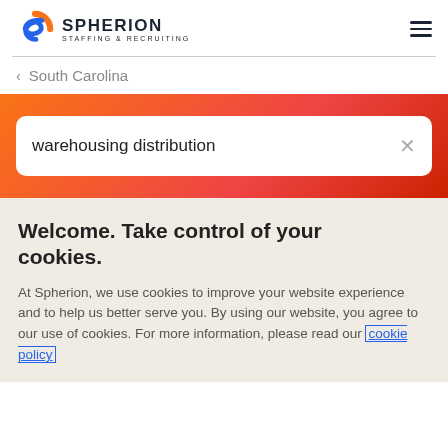[Figure (logo): Spherion Staffing & Recruiting logo with stylized S icon in blue and orange]
< South Carolina
warehousing distribution (search box with X)
Welcome. Take control of your cookies.
At Spherion, we use cookies to improve your website experience and to help us better serve you. By using our website, you agree to our use of cookies. For more information, please read our cookie policy